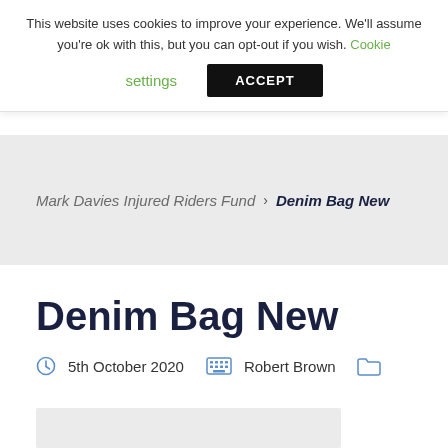This website uses cookies to improve your experience. We'll assume you're ok with this, but you can opt-out if you wish. Cookie settings  ACCEPT
Mark Davies Injured Riders Fund › Denim Bag New
Denim Bag New
5th October 2020   Robert Brown
[Figure (photo): Partial image placeholder at bottom of page, light gray background]